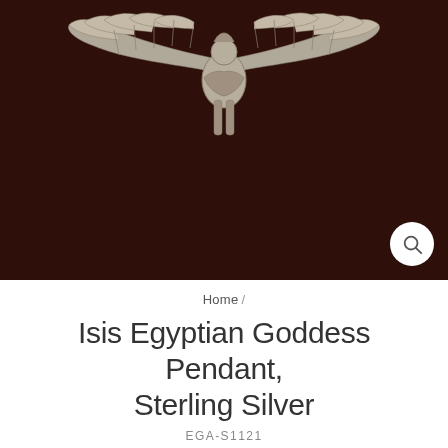[Figure (photo): Product photo of an Egyptian Isis goddess pendant in sterling silver with outstretched wings, displayed against a dark brown/maroon background.]
Home /
Isis Egyptian Goddess Pendant, Sterling Silver
EGA-S1121
[Figure (other): Five empty star rating icons in gold/yellow color indicating 0 out of 5 stars]
$ 24.00